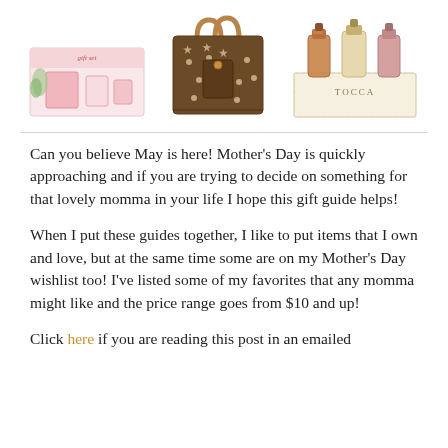[Figure (photo): Three product images in a row: a pink beauty/skincare gift set box on the left, a brown patterned tote bag in the middle, and a Tocca perfume miniature set on the right.]
Can you believe May is here!  Mother’s Day is quickly approaching and if you are trying to decide on something for that lovely momma in your life I hope this gift guide helps!
When I put these guides together, I like to put items that I own and love, but at the same time some are on my Mother’s Day wishlist too!  I’ve listed some of my favorites that any momma might like and the price range goes from $10 and up!
Click here if you are reading this post in an emailed